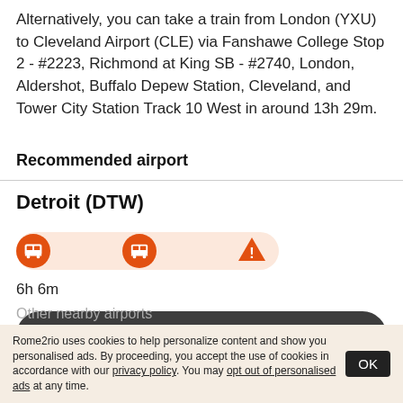Alternatively, you can take a train from London (YXU) to Cleveland Airport (CLE) via Fanshawe College Stop 2 - #2223, Richmond at King SB - #2740, London, Aldershot, Buffalo Depew Station, Cleveland, and Tower City Station Track 10 West in around 13h 29m.
Recommended airport
Detroit (DTW)
[Figure (infographic): Route bar showing two orange bus icons connected by an orange-tinted pill shape, followed by an orange warning triangle icon, representing a transit route.]
6h 6m
See schedules →
Other nearby airports
Rome2rio uses cookies to help personalize content and show you personalised ads. By proceeding, you accept the use of cookies in accordance with our privacy policy. You may opt out of personalised ads at any time.